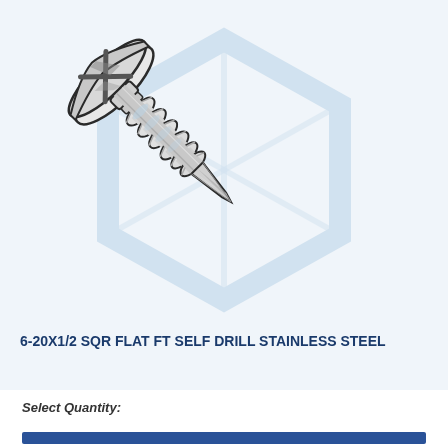[Figure (illustration): Technical illustration of a 6-20x1/2 square flat foot self-drilling stainless steel screw shown diagonally, with a flat head featuring a square drive recess, threaded shaft with visible thread coils, and a sharp drill point tip. A light blue hexagon watermark/logo is visible in the background.]
6-20X1/2 SQR FLAT FT SELF DRILL STAINLESS STEEL
Select Quantity: